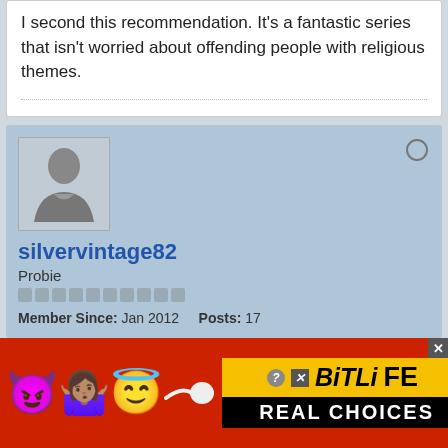I second this recommendation. It's a fantastic series that isn't worried about offending people with religious themes.
[Figure (photo): Forum user profile card for silvervintage82 with avatar placeholder, username, rank 'Probie', pip row, member since Jan 2012, Posts: 17, offline status indicator]
silvervintage82
Probie
Member Since: Jan 2012   Posts: 17
15 January 2012, 01:56 PM
#14060
[Figure (infographic): Advertisement banner for BitLife app with emoji icons (devil, woman shrugging, angel, sperm) on red background, BitLife logo in yellow, 'REAL CHOICES' text in black, close button top right]